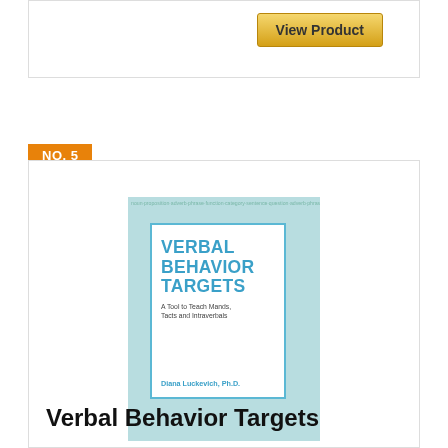[Figure (other): Top section card with View Product button]
NO. 5
[Figure (illustration): Book cover for Verbal Behavior Targets by Diana Luckevich, Ph.D. — light blue background with word cloud, white inner box with title in blue uppercase text]
Verbal Behavior Targets